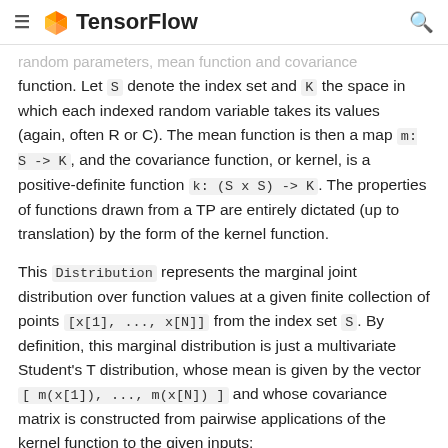TensorFlow
random parameters, mean function and covariance function. Let S denote the index set and K the space in which each indexed random variable takes its values (again, often R or C). The mean function is then a map m: S -> K, and the covariance function, or kernel, is a positive-definite function k: (S x S) -> K. The properties of functions drawn from a TP are entirely dictated (up to translation) by the form of the kernel function.
This Distribution represents the marginal joint distribution over function values at a given finite collection of points [x[1], ..., x[N]] from the index set S. By definition, this marginal distribution is just a multivariate Student's T distribution, whose mean is given by the vector [ m(x[1]), ..., m(x[N]) ] and whose covariance matrix is constructed from pairwise applications of the kernel function to the given inputs: